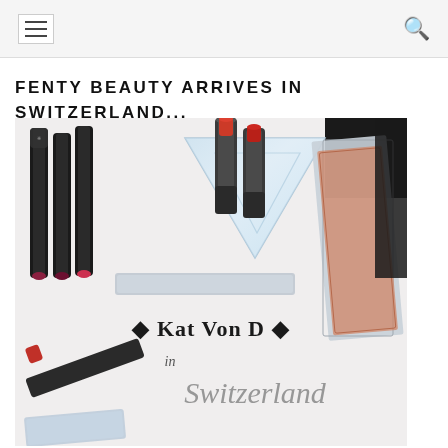Navigation header with hamburger menu and search icon
FENTY BEAUTY ARRIVES IN SWITZERLAND...
[Figure (photo): Kat Von D beauty products including lipsticks and lip liners arranged on holographic triangular packaging, with text 'Kat Von D in Switzerland' overlaid on the image]